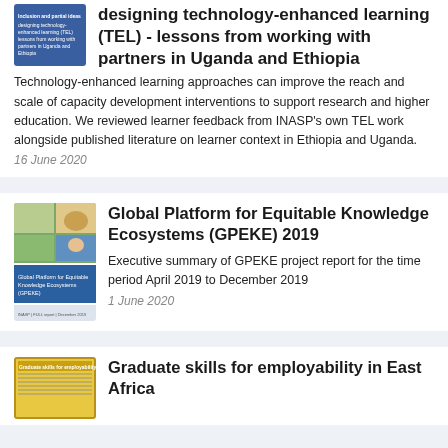designing technology-enhanced learning (TEL) - lessons from working with partners in Uganda and Ethiopia
Technology-enhanced learning approaches can improve the reach and scale of capacity development interventions to support research and higher education. We reviewed learner feedback from INASP's own TEL work alongside published literature on learner context in Ethiopia and Uganda.
16 June 2020
[Figure (photo): Thumbnail image of Global Platform for Equitable Knowledge Ecosystems (GPEKE) publication cover with field/agriculture photos]
Global Platform for Equitable Knowledge Ecosystems (GPEKE) 2019
Executive summary of GPEKE project report for the time period April 2019 to December 2019
1 June 2020
[Figure (photo): Thumbnail image of Graduate skills for employability in East Africa publication]
Graduate skills for employability in East Africa